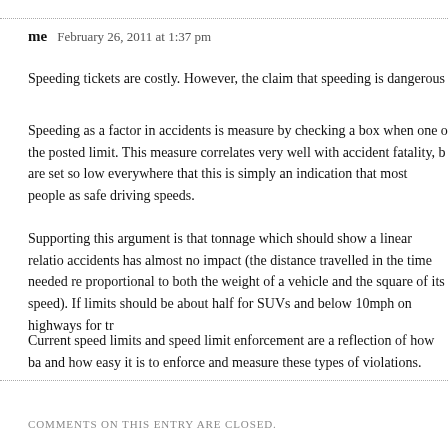me   February 26, 2011 at 1:37 pm
Speeding tickets are costly. However, the claim that speeding is dangerous
Speeding as a factor in accidents is measure by checking a box when one o the posted limit. This measure correlates very well with accident fatality, b are set so low everywhere that this is simply an indication that most people as safe driving speeds.
Supporting this argument is that tonnage which should show a linear relatio accidents has almost no impact (the distance travelled in the time needed re proportional to both the weight of a vehicle and the square of its speed). If limits should be about half for SUVs and below 10mph on highways for tr
Current speed limits and speed limit enforcement are a reflection of how ba and how easy it is to enforce and measure these types of violations.
COMMENTS ON THIS ENTRY ARE CLOSED.